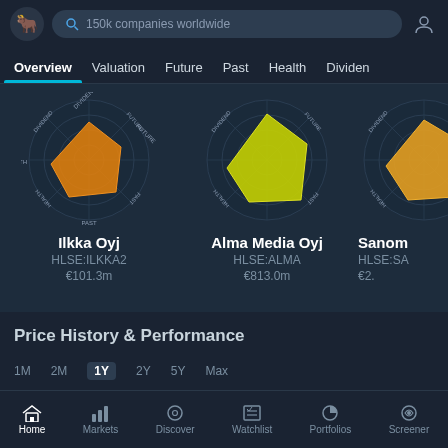[Figure (screenshot): App top bar with logo, search bar reading '150k companies worldwide', and profile icon]
Overview | Valuation | Future | Past | Health | Dividen
[Figure (infographic): Snowflake radar chart for Ilkka Oyj with orange filled polygon, labeled DIVIDEND, FUTURE, PAST, HEALTH]
Ilkka Oyj
HLSE:ILKKA2
€101.3m
[Figure (infographic): Snowflake radar chart for Alma Media Oyj with yellow filled polygon, labeled DIVIDEND, FUTURE, PAST, HEALTH]
Alma Media Oyj
HLSE:ALMA
€813.0m
[Figure (infographic): Partial snowflake radar chart for Sanoma (partially visible) with orange/yellow filled polygon]
Sanom
HLSE:SA
€2.
Price History & Performance
1M   2M   1Y   2Y   5Y   Max
Home | Markets | Discover | Watchlist | Portfolios | Screener